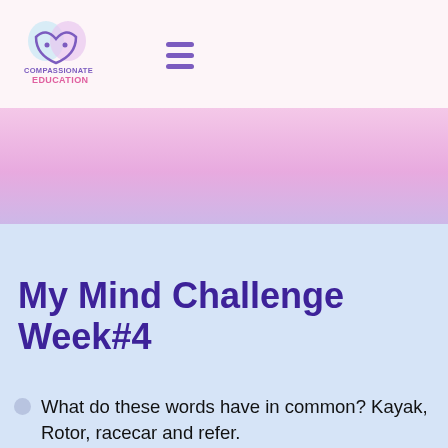Compassionate Education
[Figure (logo): Compassionate Education logo with two heart shapes forming a face above the text COMPASSIONATE EDUCATION in purple]
My Mind Challenge Week#4
What do these words have in common? Kayak, Rotor, racecar and refer.